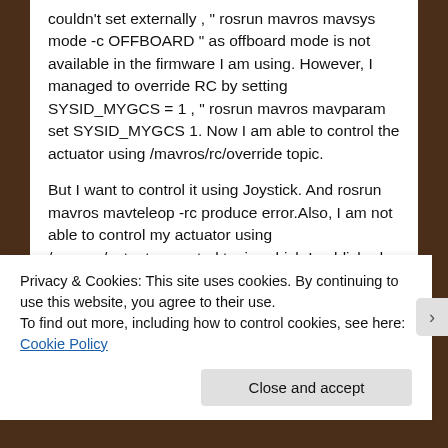couldn't set externally , " rosrun mavros mavsys mode -c OFFBOARD " as offboard mode is not available in the firmware I am using. However, I managed to override RC by setting SYSID_MYGCS = 1 , " rosrun mavros mavparam set SYSID_MYGCS 1. Now I am able to control the actuator using /mavros/rc/override topic.
But I want to control it using Joystick. And rosrun mavros mavteleop -rc produce error.Also, I am not able to control my actuator using /mavros/actuator_control topic, which I published. If I am in offboard mode I should be able to control the actuators using /mavros/actuator_control topic right ?
Privacy & Cookies: This site uses cookies. By continuing to use this website, you agree to their use.
To find out more, including how to control cookies, see here: Cookie Policy